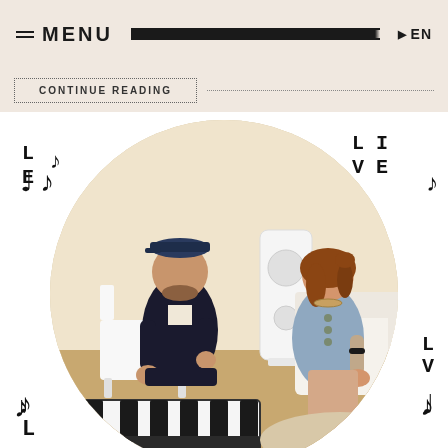MENU | EN
CONTINUE READING
[Figure (photo): A man in a black suit and cap and a woman in a blue dress sit in a bright room with a white speaker and a keyboard piano in the foreground, displayed inside a circular crop with musical note decorations and the word LIVE around the edges.]